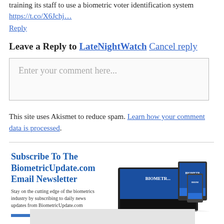training its staff to use a biometric voter identification system https://t.co/X6Jchj...
Reply
Leave a Reply to LateNightWatch Cancel reply
Enter your comment here...
This site uses Akismet to reduce spam. Learn how your comment data is processed.
[Figure (infographic): Subscribe To The BiometricUpdate.com Email Newsletter advertisement with devices showing website and a Learn More button]